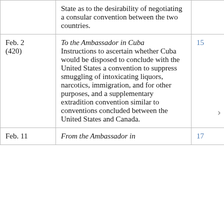| Date | Description | Page |
| --- | --- | --- |
|  | State as to the desirability of negotiating a consular convention between the two countries. |  |
| Feb. 2
(420) | To the Ambassador in Cuba
Instructions to ascertain whether Cuba would be disposed to conclude with the United States a convention to suppress smuggling of intoxicating liquors, narcotics, immigration, and for other purposes, and a supplementary extradition convention similar to conventions concluded between the United States and Canada. | 15 |
| Feb. 11 | From the Ambassador in | 17 |